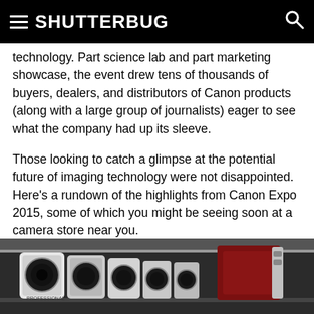SHUTTERBUG
technology. Part science lab and part marketing showcase, the event drew tens of thousands of buyers, dealers, and distributors of Canon products (along with a large group of journalists) eager to see what the company had up its sleeve.
Those looking to catch a glimpse at the potential future of imaging technology were not disappointed. Here’s a rundown of the highlights from Canon Expo 2015, some of which you might be seeing soon at a camera store near you.
[Figure (photo): Row of Canon camera lenses displayed on a shelf or exhibit table at Canon Expo 2015.]